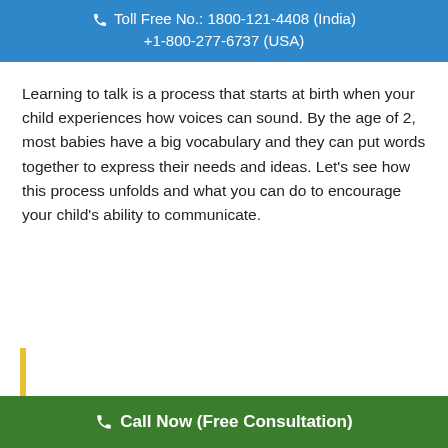Toll Free No.: 1800-121-4408 (India) +1-800-277-6737 (USA)
Learning to talk is a process that starts at birth when your child experiences how voices can sound. By the age of 2, most babies have a big vocabulary and they can put words together to express their needs and ideas. Let’s see how this process unfolds and what you can do to encourage your child’s ability to communicate.
Call Now (Free Consultation)